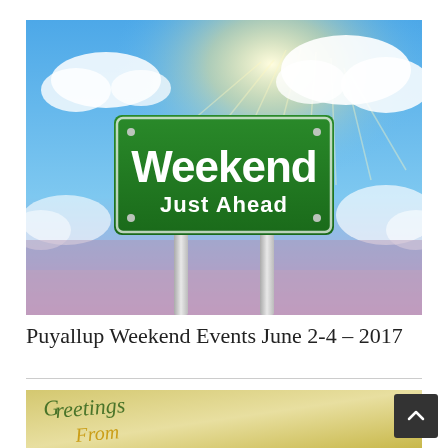[Figure (illustration): A green road sign reading 'Weekend Just Ahead' against a bright blue sky with white clouds and sun rays]
Puyallup Weekend Events June 2-4 – 2017
[Figure (illustration): Partial view of a postcard or decorative image with cursive text reading 'Greetings From' in green and gold lettering]